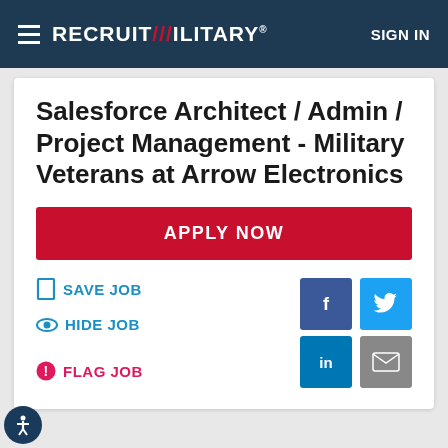RecruitMilitary® SIGN IN
Salesforce Architect / Admin / Project Management - Military Veterans at Arrow Electronics
APPLY NOW
SAVE JOB
HIDE JOB
FLAG JOB